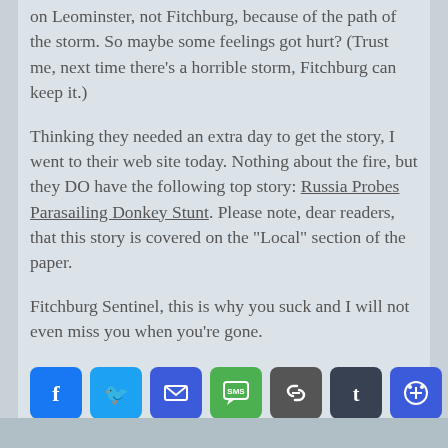on Leominster, not Fitchburg, because of the path of the storm. So maybe some feelings got hurt? (Trust me, next time there's a horrible storm, Fitchburg can keep it.)
Thinking they needed an extra day to get the story, I went to their web site today. Nothing about the fire, but they DO have the following top story: Russia Probes Parasailing Donkey Stunt. Please note, dear readers, that this story is covered on the "Local" section of the paper.
Fitchburg Sentinel, this is why you suck and I will not even miss you when you're gone.
[Figure (infographic): Social media share buttons row: Facebook, Twitter, Email, SMS, Link, Tumblr, Print, Print2, Kinja, More]